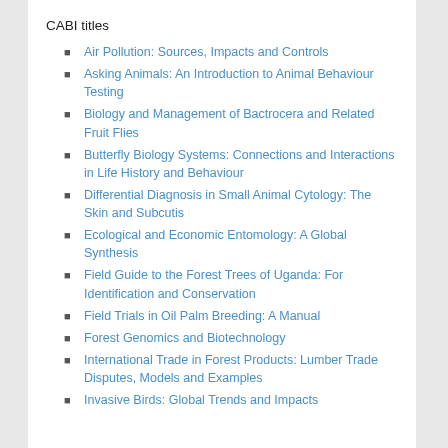CABI titles
Air Pollution: Sources, Impacts and Controls
Asking Animals: An Introduction to Animal Behaviour Testing
Biology and Management of Bactrocera and Related Fruit Flies
Butterfly Biology Systems: Connections and Interactions in Life History and Behaviour
Differential Diagnosis in Small Animal Cytology: The Skin and Subcutis
Ecological and Economic Entomology: A Global Synthesis
Field Guide to the Forest Trees of Uganda: For Identification and Conservation
Field Trials in Oil Palm Breeding: A Manual
Forest Genomics and Biotechnology
International Trade in Forest Products: Lumber Trade Disputes, Models and Examples
Invasive Birds: Global Trends and Impacts